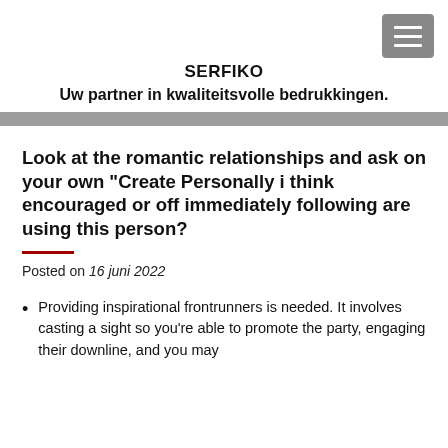SERFIKO
Uw partner in kwaliteitsvolle bedrukkingen.
Look at the romantic relationships and ask on your own “Create Personally i think encouraged or off immediately following are using this person?
Posted on 16 juni 2022
Providing inspirational frontrunners is needed. It involves casting a sight so you’re able to promote the party, engaging their downline, and you may